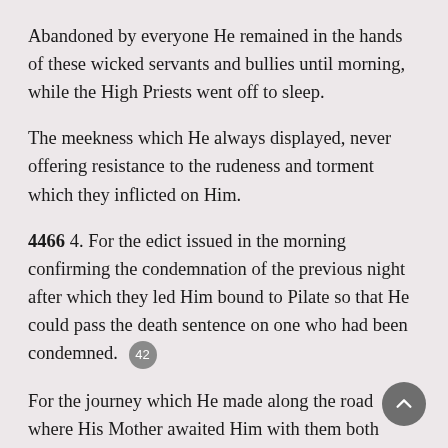Abandoned by everyone He remained in the hands of these wicked servants and bullies until morning, while the High Priests went off to sleep.
The meekness which He always displayed, never offering resistance to the rudeness and torment which they inflicted on Him.
4466 4. For the edict issued in the morning confirming the condemnation of the previous night after which they led Him bound to Pilate so that He could pass the death sentence on one who had been condemned. [42]
For the journey which He made along the road where His Mother awaited Him with them both experiencing such sorrow; and for the embarrassment which He experienced because of